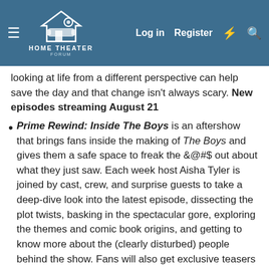[Figure (screenshot): Home Theater Forum navigation bar with hamburger menu, logo, Log in, Register, lightning bolt, and search icons on a blue-gray background]
looking at life from a different perspective can help save the day and that change isn't always scary. New episodes streaming August 21
Prime Rewind: Inside The Boys is an aftershow that brings fans inside the making of The Boys and gives them a safe space to freak the &@#$ out about what they just saw. Each week host Aisha Tyler is joined by cast, crew, and surprise guests to take a deep-dive look into the latest episode, dissecting the plot twists, basking in the spectacular gore, exploring the themes and comic book origins, and getting to know more about the (clearly disturbed) people behind the show. Fans will also get exclusive teasers and hints on upcoming episodes to fuel their alarming totally normal obsession. Prime Rewind: Inside The Boys
will debut on August 28 with a look back at season one. The aftershow continues on September 4 to dive into each episode of Season 2 as it rolls out through...